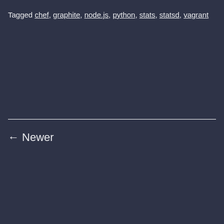Tagged chef, graphite, node.js, python, stats, statsd, vagrant
← Newer